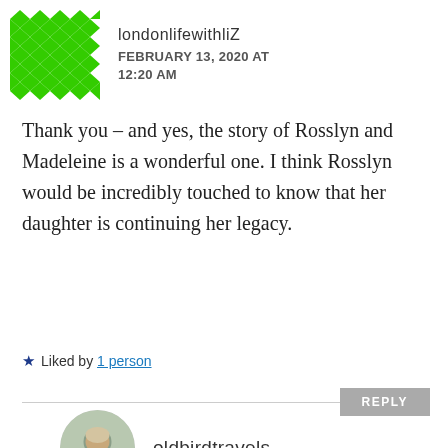[Figure (illustration): Green geometric/diamond pattern avatar icon for user londonlifewithliZ]
londonlifewithliZ
FEBRUARY 13, 2020 AT 12:20 AM
Thank you – and yes, the story of Rosslyn and Madeleine is a wonderful one. I think Rosslyn would be incredibly touched to know that her daughter is continuing her legacy.
★ Liked by 1 person
REPLY
[Figure (photo): Circular profile photo of a woman with short light hair, resting chin on hand, outdoors]
oldbirdtravels